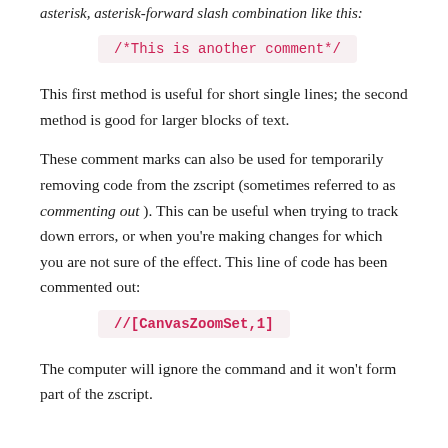asterisk, asterisk-forward slash combination like this:
/*This is another comment*/
This first method is useful for short single lines; the second method is good for larger blocks of text.
These comment marks can also be used for temporarily removing code from the zscript (sometimes referred to as commenting out). This can be useful when trying to track down errors, or when you're making changes for which you are not sure of the effect. This line of code has been commented out:
//[CanvasZoomSet,1]
The computer will ignore the command and it won't form part of the zscript.